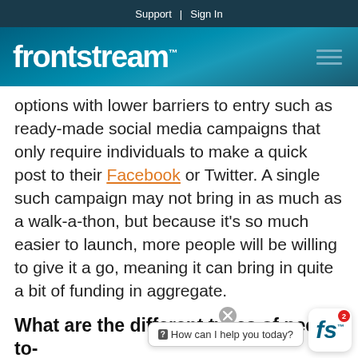Support | Sign In
[Figure (logo): Frontstream logo in white on teal/blue gradient background with hamburger menu icon on right]
options with lower barriers to entry such as ready-made social media campaigns that only require individuals to make a quick post to their Facebook or Twitter. A single such campaign may not bring in as much as a walk-a-thon, but because it’s so much easier to launch, more people will be willing to give it a go, meaning it can bring in quite a bit of funding in aggregate.
What are the different types of peer-to-peer peer fundraising.